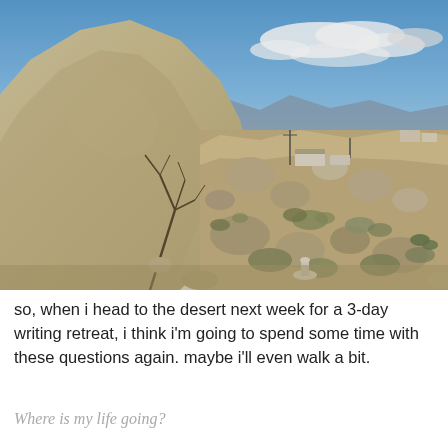[Figure (photo): Desert landscape photograph showing rocky terrain with desert shrubs and brush in the foreground, a large sandy/rocky hill on the left side, blue sky with clouds in the background, and small structures visible in the middle distance.]
so, when i head to the desert next week for a 3-day writing retreat, i think i'm going to spend some time with these questions again. maybe i'll even walk a bit.
Where is my life going?